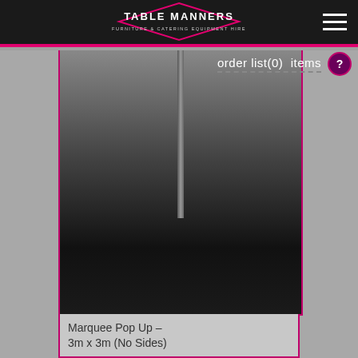[Figure (logo): Table Manners logo — diamond shape with 'TABLE MANNERS' text and subtitle 'FURNITURE & CATERING EQUIPMENT HIRE' on dark background header bar]
order list(0)  items
[Figure (photo): Product photo of a marquee pop up structure showing a vertical pole against a dark gradient background]
Marquee Pop Up –
3m x 3m (No Sides)